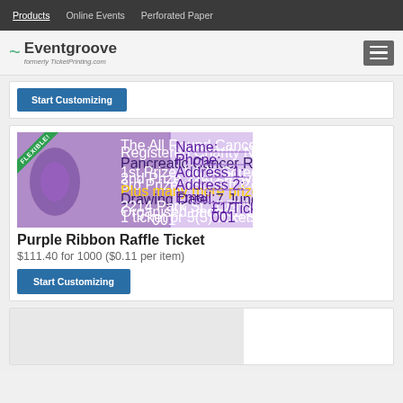Products | Online Events | Perforated Paper
[Figure (logo): Eventgroove logo, formerly TicketPrinting.com, with hamburger menu icon]
Start Customizing
[Figure (photo): Purple Ribbon Raffle Ticket sample image with FLEXIBLE corner ribbon. Shows Pancreatic Cancer Raffle ticket with purple ribbon design.]
Purple Ribbon Raffle Ticket
$111.40 for 1000 ($0.11 per item)
Start Customizing
[Figure (photo): Partial view of another product ticket at the bottom of the page]